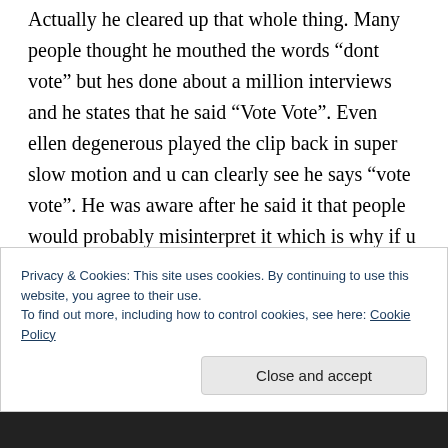Actually he cleared up that whole thing. Many people thought he mouthed the words “dont vote” but hes done about a million interviews and he states that he said “Vote Vote”. Even ellen degenerous played the clip back in super slow motion and u can clearly see he says “vote vote”. He was aware after he said it that people would probably misinterpret it which is why if u notice after his 2nd performance he only said vote once so the same thing wouldnt happen. That was just a complete misunderstanding. And
Privacy & Cookies: This site uses cookies. By continuing to use this website, you agree to their use.
To find out more, including how to control cookies, see here: Cookie Policy
Close and accept